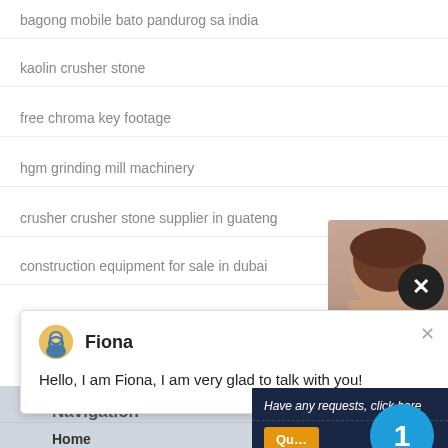bagong mobile bato pandurog sa india
kaolin crusher stone
free chroma key footage
hgm grinding mill machinery
crusher crusher stone supplier in guateng
construction equipment for sale in dubai
[Figure (photo): Chat popup with avatar of Fiona (customer service agent with headset), close button X, and message: Hello, I am Fiona, I am very glad to talk with you!]
[Figure (photo): Photo of person (partial view of head/hair) in top right corner with dark circular close button]
[Figure (infographic): Dark navy right sidebar panel with: 'Have any requests, click here' text, orange Quote button, blue circle with number 1 notification badge, Enquiry section, limingjlmofen@sina.com email]
Navigation
Home
Product